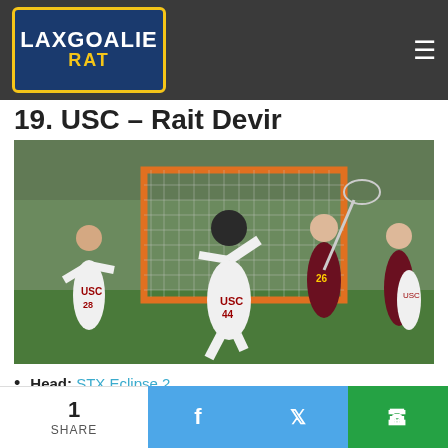Lax Goalie Rat — navigation bar with logo and hamburger menu
19. USC – Rait Devir
[Figure (photo): Action photo of USC lacrosse goalie #44 in front of an orange-framed lacrosse goal, with USC player #28 and Arizona State players #26 nearby on a turf field.]
Head: STX Eclipse 2
Mesh: 12 Diamond
1 SHARE | Facebook share | Twitter share | WhatsApp share